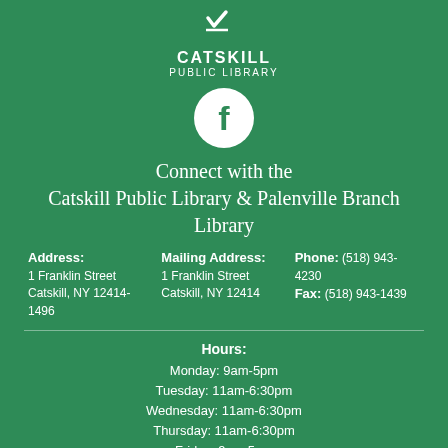[Figure (logo): Catskill Public Library logo with book/checkmark icon and text CATSKILL PUBLIC LIBRARY]
[Figure (logo): Facebook icon in white circle on green background]
Connect with the Catskill Public Library & Palenville Branch Library
Address: 1 Franklin Street Catskill, NY 12414-1496
Mailing Address: 1 Franklin Street Catskill, NY 12414
Phone: (518) 943-4230
Fax: (518) 943-1439
Hours:
Monday: 9am-5pm
Tuesday: 11am-6:30pm
Wednesday: 11am-6:30pm
Thursday: 11am-6:30pm
Friday: 9am-5pm